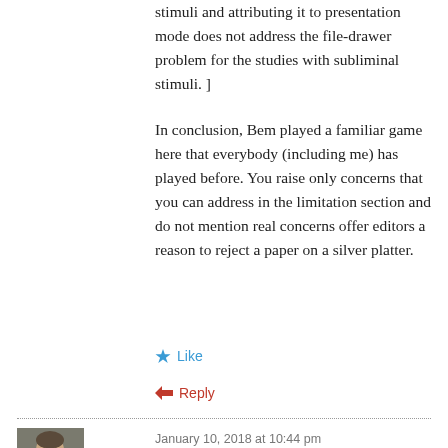stimuli and attributing it to presentation mode does not address the file-drawer problem for the studies with subliminal stimuli. ]
In conclusion, Bem played a familiar game here that everybody (including me) has played before. You raise only concerns that you can address in the limitation section and do not mention real concerns offer editors a reason to reject a paper on a silver platter.
Like
Reply
January 10, 2018 at 10:44 pm
[Figure (photo): Small avatar photo of a young man with short hair, shown from shoulders up, in a square thumbnail.]